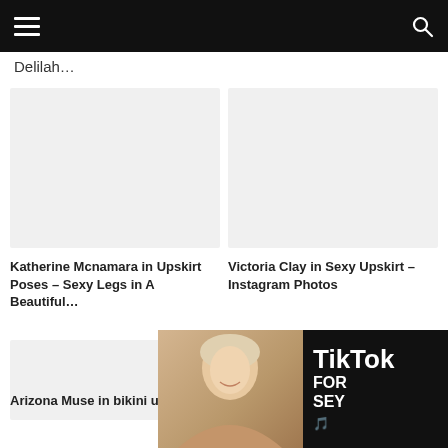[navigation header with hamburger menu and search icon]
Delilah…
[Figure (photo): Empty/placeholder image area for article thumbnail]
[Figure (photo): Empty/placeholder image area for article thumbnail]
Katherine Mcnamara in Upskirt Poses – Sexy Legs in A Beautiful…
Victoria Clay in Sexy Upskirt – Instagram Photos
[Figure (photo): Empty/placeholder image area for article thumbnail]
Arizona Muse in bikini u…
[Figure (photo): Advertisement overlay: photo of a blonde woman smiling, beside TikTok FOR SEX ad on black background]
X